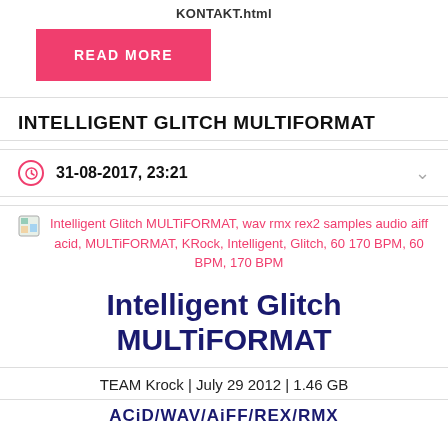KONTAKT.html
READ MORE
INTELLIGENT GLITCH MULTIFORMAT
31-08-2017, 23:21
Intelligent Glitch MULTiFORMAT, wav rmx rex2 samples audio aiff acid, MULTiFORMAT, KRock, Intelligent, Glitch, 60 170 BPM, 60 BPM, 170 BPM
Intelligent Glitch MULTiFORMAT
TEAM Krock | July 29 2012 | 1.46 GB
ACiD/WAV/AiFF/REX/RMX